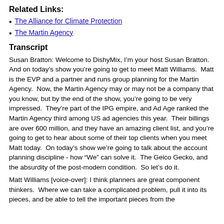Related Links:
The Alliance for Climate Protection
The Martin Agency
Transcript
Susan Bratton: Welcome to DishyMix, I’m your host Susan Bratton.  And on today’s show you’re going to get to meet Matt Williams.  Matt is the EVP and a partner and runs group planning for the Martin Agency.  Now, the Martin Agency may or may not be a company that you know, but by the end of the show, you’re going to be very impressed.  They’re part of the IPG empire, and Ad Age ranked the Martin Agency third among US ad agencies this year.  Their billings are over 600 million, and they have an amazing client list, and you’re going to get to hear about some of their top clients when you meet Matt today.  On today’s show we’re going to talk about the account planning discipline - how “We” can solve it.  The Geico Gecko, and the absurdity of the post-modern condition.  So let’s do it.
Matt Williams [voice-over]: I think planners are great component thinkers.  Where we can take a complicated problem, pull it into its pieces, and be able to tell the important pieces from the.